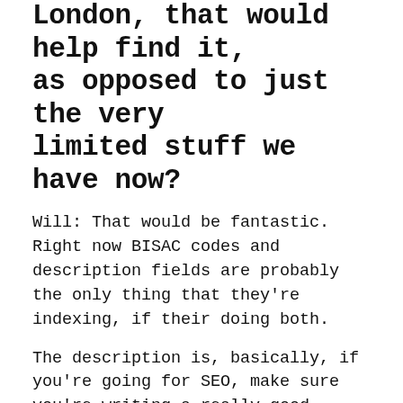London, that would help find it, as opposed to just the very limited stuff we have now?
Will: That would be fantastic. Right now BISAC codes and description fields are probably the only thing that they're indexing, if their doing both.
The description is, basically, if you're going for SEO, make sure you're writing a really good description. Look at what the big pubs are doing. They're stuffing a lot of stuff in there. And look at some of the top sellers and see what they're doing with their audiobook descriptions.
They're limited to, I believe, 4,000 characters. I could be wrong on that specific metric. So you don't have a ton of space to work with to do a lot of excerpts, or parts of the chapters, or something